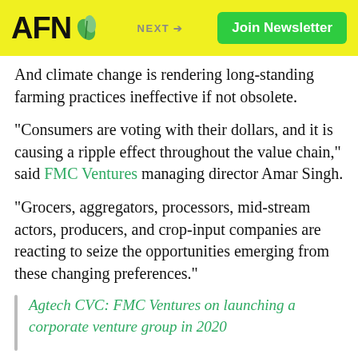AFN | NEXT → | Join Newsletter
And climate change is rendering long-standing farming practices ineffective if not obsolete.
“Consumers are voting with their dollars, and it is causing a ripple effect throughout the value chain,” said FMC Ventures managing director Amar Singh.
“Grocers, aggregators, processors, mid-stream actors, producers, and crop-input companies are reacting to seize the opportunities emerging from these changing preferences.”
Agtech CVC: FMC Ventures on launching a corporate venture group in 2020
AFN’s parent company AgFunder, in a research